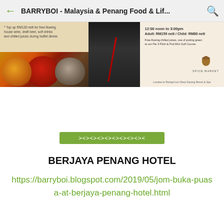BARRYBOI - Malaysia & Penang Food & Lif...
[Figure (photo): Advertisement banner for Spice Market restaurant at Shangri-La's Rasa Sayang Resort & Spa. Left side shows spices and bowls of colored powder with text about top up RM130 nett for free-flowing house wine, draft beer, soft drinks and chilled juices during buffet dinner. Middle shows a chef in black uniform. Right side shows 12:00 noon to 3:00pm, Adult: RM159 nett / Child: RM80 nett, free-flowing chilled juices and Spice Market logo.]
[Figure (illustration): Decorative green banner with arrow pattern ><><><><><><><><><]
BERJAYA PENANG HOTEL
https://barryboi.blogspot.com/2019/05/jom-buka-puasa-at-berjaya-penang-hotel.html